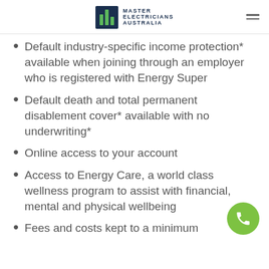MASTER ELECTRICIANS AUSTRALIA
Default industry-specific income protection* available when joining through an employer who is registered with Energy Super
Default death and total permanent disablement cover* available with no underwriting*
Online access to your account
Access to Energy Care, a world class wellness program to assist with financial, mental and physical wellbeing
Fees and costs kept to a minimum